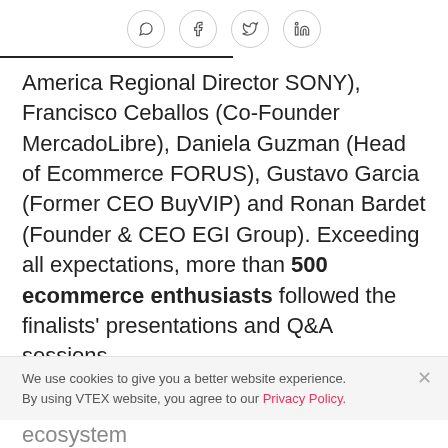Social share icons: WhatsApp, Facebook, Twitter, LinkedIn
America Regional Director SONY), Francisco Ceballos (Co-Founder MercadoLibre), Daniela Guzman (Head of Ecommerce FORUS), Gustavo Garcia (Former CEO BuyVIP) and Ronan Bardet (Founder & CEO EGI Group). Exceeding all expectations, more than 500 ecommerce enthusiasts followed the finalists' presentations and Q&A sessions,
We use cookies to give you a better website experience. By using VTEX website, you agree to our Privacy Policy.
ecosystem